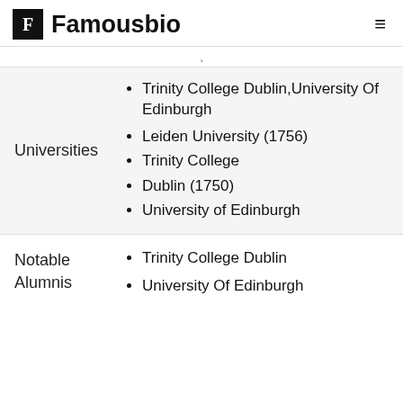F Famousbio
| Universities | Trinity College Dublin,University Of Edinburgh • Leiden University (1756) • Trinity College • Dublin (1750) • University of Edinburgh |
| Notable Alumnis | Trinity College Dublin • University Of Edinburgh |